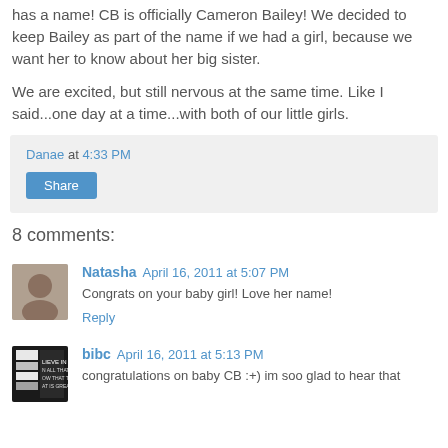has a name!  CB is officially Cameron Bailey!  We decided to keep Bailey as part of the name if we had a girl, because we want her to know about her big sister.
We are excited, but still nervous at the same time.  Like I said...one day at a time...with both of our little girls.
Danae at 4:33 PM
Share
8 comments:
Natasha  April 16, 2011 at 5:07 PM
Congrats on your baby girl! Love her name!
Reply
bibc  April 16, 2011 at 5:13 PM
congratulations on baby CB :+) im soo glad to hear that